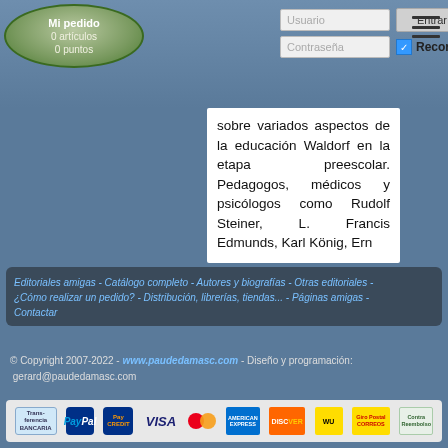Mi pedido
0 artículos
0 puntos
sobre variados aspectos de la educación Waldorf en la etapa preescolar. Pedagogos, médicos y psicólogos como Rudolf Steiner, L. Francis Edmunds, Karl König, Ern
... Leer más
Editoriales amigas - Catálogo completo - Autores y biografías - Otras editoriales - ¿Cómo realizar un pedido? - Distribución, librerías, tiendas... - Páginas amigas - Contactar
© Copyright 2007-2022 - www.paudedamasc.com - Diseño y programación:
gerard@paudedamasc.com